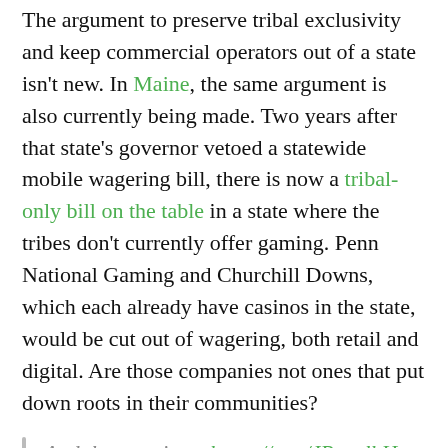The argument to preserve tribal exclusivity and keep commercial operators out of a state isn't new. In Maine, the same argument is also currently being made. Two years after that state's governor vetoed a statewide mobile wagering bill, there is now a tribal-only bill on the table in a state where the tribes don't currently offer gaming. Penn National Gaming and Churchill Downs, which each already have casinos in the state, would be cut out of wagering, both retail and digital. Are those companies not ones that put down roots in their communities?
And the race is on https://t.co/JRngzlhHus
— Victor Rocha (@VictorRocha1) February 11, 2022
The argument doesn't hold water in any state. There are only a certain number of companies that have the technology and experience to operate digital sports betting platforms. Suggesting that those companies would not